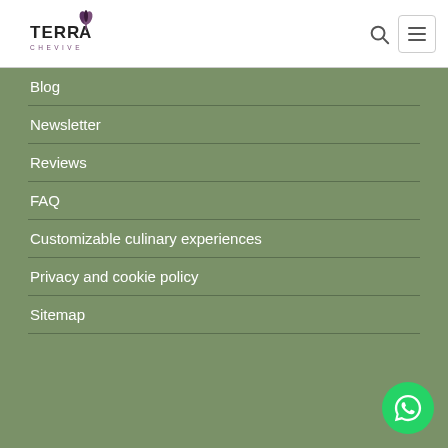[Figure (logo): Terra Chevive logo with stylized leaf graphic]
Blog
Newsletter
Reviews
FAQ
Customizable culinary experiences
Privacy and cookie policy
Sitemap